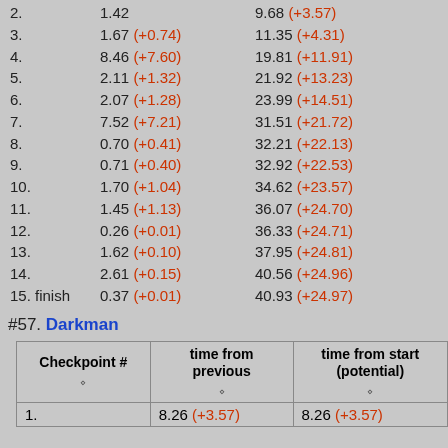2.   1.42   9.68 (+3.57)
3.   1.67 (+0.74)   11.35 (+4.31)
4.   8.46 (+7.60)   19.81 (+11.91)
5.   2.11 (+1.32)   21.92 (+13.23)
6.   2.07 (+1.28)   23.99 (+14.51)
7.   7.52 (+7.21)   31.51 (+21.72)
8.   0.70 (+0.41)   32.21 (+22.13)
9.   0.71 (+0.40)   32.92 (+22.53)
10.   1.70 (+1.04)   34.62 (+23.57)
11.   1.45 (+1.13)   36.07 (+24.70)
12.   0.26 (+0.01)   36.33 (+24.71)
13.   1.62 (+0.10)   37.95 (+24.81)
14.   2.61 (+0.15)   40.56 (+24.96)
15. finish   0.37 (+0.01)   40.93 (+24.97)
#57. Darkman
| Checkpoint # | time from previous | time from start (potential) |
| --- | --- | --- |
| 1. | 8.26 (+3.57) | 8.26 (+3.57) |